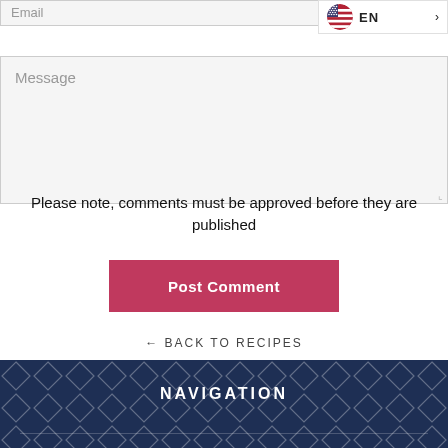Email
[Figure (infographic): Language selector badge showing USA flag circle and 'EN' text with arrow]
Message
Please note, comments must be approved before they are published
Post Comment
← BACK TO RECIPES
NAVIGATION